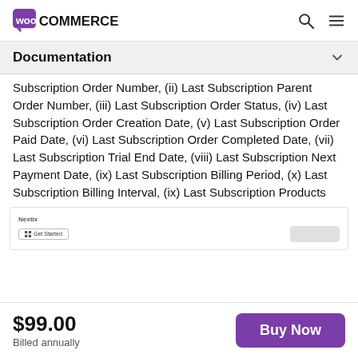WooCommerce [logo] [search icon] [menu icon]
Documentation
Subscription Order Number, (ii) Last Subscription Parent Order Number, (iii) Last Subscription Order Status, (iv) Last Subscription Order Creation Date, (v) Last Subscription Order Paid Date, (vi) Last Subscription Order Completed Date, (vii) Last Subscription Trial End Date, (viii) Last Subscription Next Payment Date, (ix) Last Subscription Billing Period, (x) Last Subscription Billing Interval, (ix) Last Subscription Products
[Figure (screenshot): Partial screenshot of a WooCommerce interface showing a Nextix panel with a Get Started button and a blurred element on the right]
$99.00
Billed annually
Buy Now